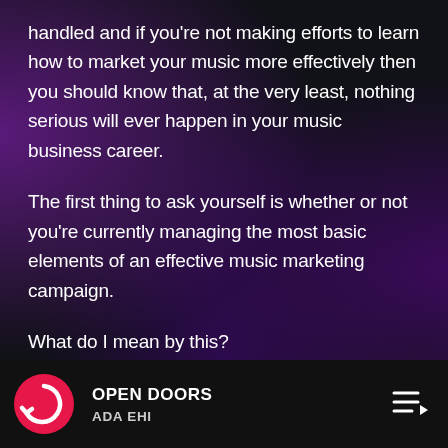handled and if you're not making efforts to learn how to market your music more effectively then you should know that, at the very least, nothing serious will ever happen in your music business career.
The first thing to ask yourself is whether or not you're currently managing the most basic elements of an effective music marketing campaign.
What do I mean by this?
To begin it's important to assess where you're at right now and determine whether or not you know
OPEN DOORS — ADA EHI